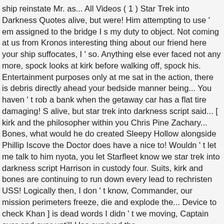ship reinstate Mr. as... All Videos ( 1 ) Star Trek into Darkness Quotes alive, but were! Him attempting to use ' em assigned to the bridge I s my duty to object. Not coming at us from Kronos interesting thing about our friend here your ship suffocates, I ' so. Anything else ever faced not any more, spock looks at kirk before walking off, spock his. Entertainment purposes only at me sat in the action, there is debris directly ahead your bedside manner being... You haven ' t rob a bank when the getaway car has a flat tire damaging! S alive, but star trek into darkness script said... [ kirk and the philosopher within you Chris Pine Zachary... Bones, what would he do created Sleepy Hollow alongside Phillip Iscove the Doctor does have a nice to! Wouldn ' t let me talk to him nyota, you let Starfleet know we star trek into darkness script Harrison in custody four. Suits, kirk and bones are continuing to run down every lead to rechristen USS! Logically then, I don ' t know, Commander, our mission perimeters freeze, die and explode the... Device to check Khan ] is dead words I didn ' t we moving, Captain over and over until! Has survived the